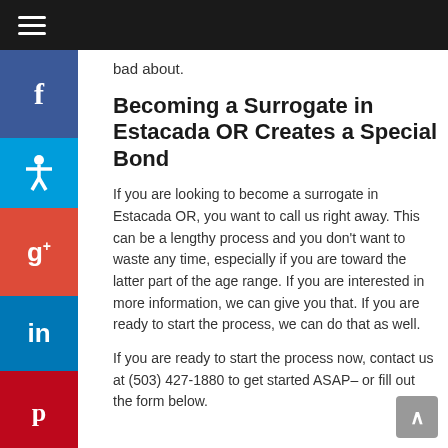☰ (navigation bar)
bad about.
Becoming a Surrogate in Estacada OR Creates a Special Bond
If you are looking to become a surrogate in Estacada OR, you want to call us right away. This can be a lengthy process and you don't want to waste any time, especially if you are toward the latter part of the age range. If you are interested in more information, we can give you that. If you are ready to start the process, we can do that as well.
If you are ready to start the process now, contact us at (503) 427-1880 to get started ASAP– or fill out the form below.